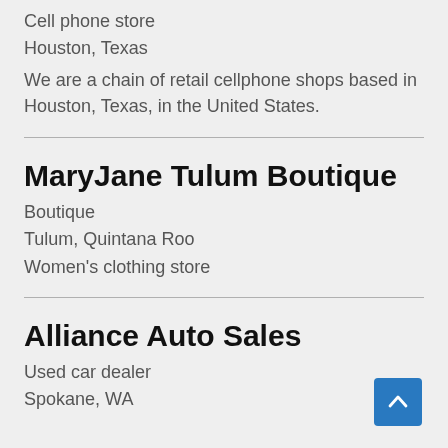Cell phone store
Houston, Texas
We are a chain of retail cellphone shops based in Houston, Texas, in the United States.
MaryJane Tulum Boutique
Boutique
Tulum, Quintana Roo
Women's clothing store
Alliance Auto Sales
Used car dealer
Spokane, WA